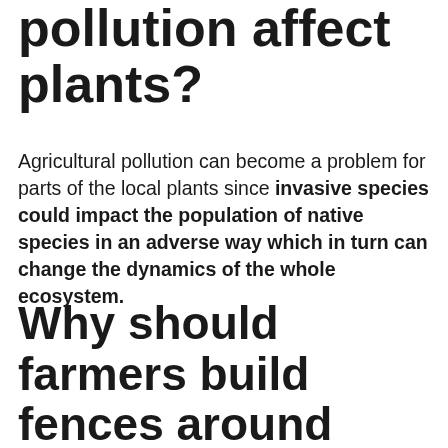pollution affect plants?
Agricultural pollution can become a problem for parts of the local plants since invasive species could impact the population of native species in an adverse way which in turn can change the dynamics of the whole ecosystem.
Why should farmers build fences around water bodies?